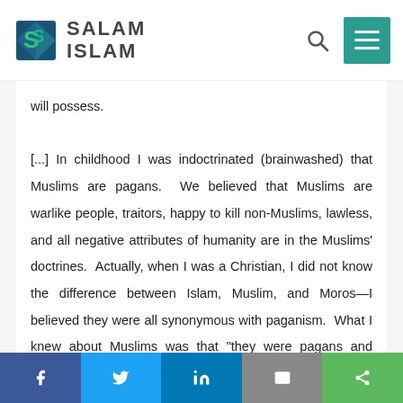SALAM ISLAM
will possess.
[...] In childhood I was indoctrinated (brainwashed) that Muslims are pagans.  We believed that Muslims are warlike people, traitors, happy to kill non-Muslims, lawless, and all negative attributes of humanity are in the Muslims' doctrines.  Actually, when I was a Christian, I did not know the difference between Islam, Muslim, and Moros—I believed they were all synonymous with paganism.  What I knew about Muslims was that "they were pagans and idiots!'"
Facebook Twitter LinkedIn Email Share